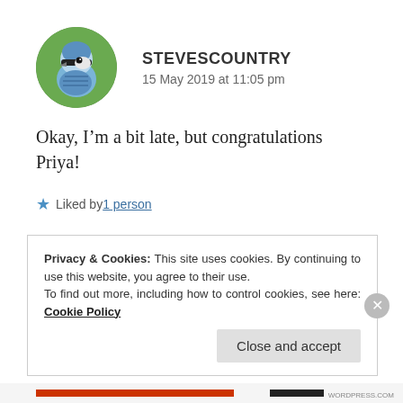[Figure (photo): Circular avatar photo of a blue jay bird with blue and white feathers and black markings, on a green background]
STEVESCOUNTRY
15 May 2019 at 11:05 pm
Okay, I'm a bit late, but congratulations Priya!
★ Liked by 1 person
REPLY
Privacy & Cookies: This site uses cookies. By continuing to use this website, you agree to their use.
To find out more, including how to control cookies, see here: Cookie Policy
Close and accept